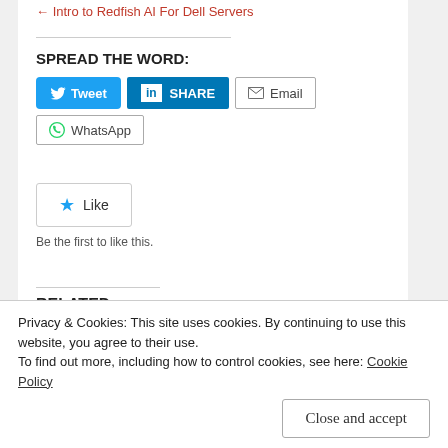← Intro to Redfish AI For Dell Servers
SPREAD THE WORD:
[Figure (infographic): Social share buttons: Tweet (Twitter/blue), SHARE (LinkedIn/blue), Email (outline), WhatsApp (outline with WhatsApp icon)]
[Figure (infographic): Like button with star icon. Text: Like. Below: Be the first to like this.]
RELATED
Privacy & Cookies: This site uses cookies. By continuing to use this website, you agree to their use.
To find out more, including how to control cookies, see here: Cookie Policy
Close and accept
Dell EMC PowerStore    CloudIQ Webhooks in